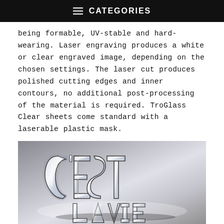CATEGORIES
being formable, UV-stable and hard-wearing. Laser engraving produces a white or clear engraved image, depending on the chosen settings. The laser cut produces polished cutting edges and inner contours, no additional post-processing of the material is required. TroGlass Clear sheets come standard with a laserable plastic mask.
[Figure (photo): Clear acrylic laser-cut letters spelling 'C'EST LA VIE' standing upright on a reflective surface, photographed against a light background.]